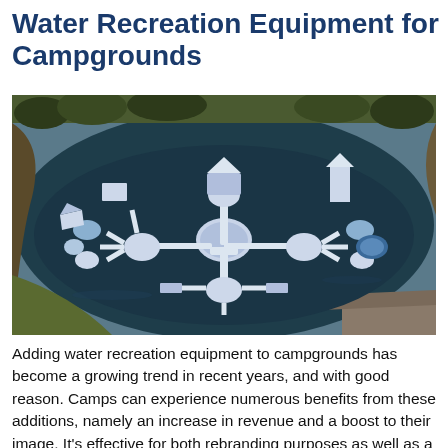Water Recreation Equipment for Campgrounds
[Figure (photo): Aerial photograph of a large inflatable water obstacle course/aqua park floating on a lake or pond, surrounded by shoreline with grass and trees. The inflatable structure is white and blue, with various platforms, slides, climbing elements, and connecting pathways arranged across the water surface.]
Adding water recreation equipment to campgrounds has become a growing trend in recent years, and with good reason. Camps can experience numerous benefits from these additions, namely an increase in revenue and a boost to their image. It's effective for both rebranding purposes as well as a means of establishing yourself in a somewhat